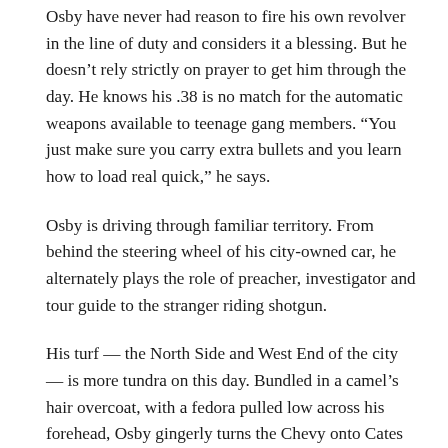Osby have never had reason to fire his own revolver in the line of duty and considers it a blessing. But he doesn't rely strictly on prayer to get him through the day. He knows his .38 is no match for the automatic weapons available to teenage gang members. “You just make sure you carry extra bullets and you learn how to load real quick,” he says.
Osby is driving through familiar territory. From behind the steering wheel of his city-owned car, he alternately plays the role of preacher, investigator and tour guide to the stranger riding shotgun.
His turf — the North Side and West End of the city — is more tundra on this day. Bundled in a camel’s hair overcoat, with a fedora pulled low across his forehead, Osby gingerly turns the Chevy onto Cates Avenue. The rubber galosh on his right foot, which covers an expensive dress shoe, softly rides the brake pedal. There is a grace to these measured motions, which in some ways cloaks the diminutive stature of a middle-aged man who still seems to possess the reflexes